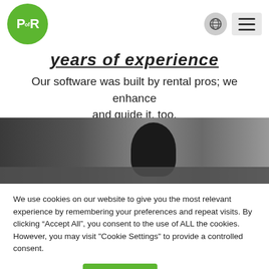PofR logo navigation bar
Years of Experience
Our software was built by rental pros; we enhance and guide it, too.
[Figure (photo): Partial photo of a person's head/hair against a dark office background]
We use cookies on our website to give you the most relevant experience by remembering your preferences and repeat visits. By clicking “Accept All”, you consent to the use of ALL the cookies. However, you may visit "Cookie Settings" to provide a controlled consent.
Cookie Settings | Accept All